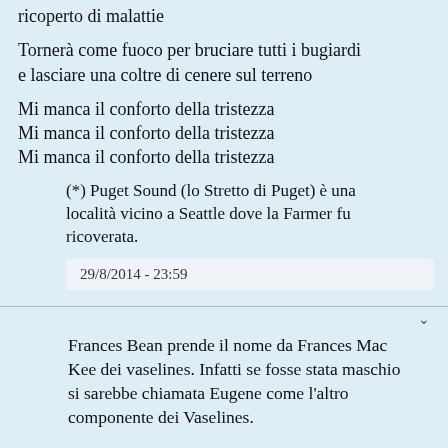ricoperto di malattie
Tornerà come fuoco per bruciare tutti i bugiardi
e lasciare una coltre di cenere sul terreno
Mi manca il conforto della tristezza
Mi manca il conforto della tristezza
Mi manca il conforto della tristezza
(*) Puget Sound (lo Stretto di Puget) è una località vicino a Seattle dove la Farmer fu ricoverata.
29/8/2014 - 23:59
Frances Bean prende il nome da Frances Mac Kee dei vaselines. Infatti se fosse stata maschio si sarebbe chiamata Eugene come l'altro componente dei Vaselines.